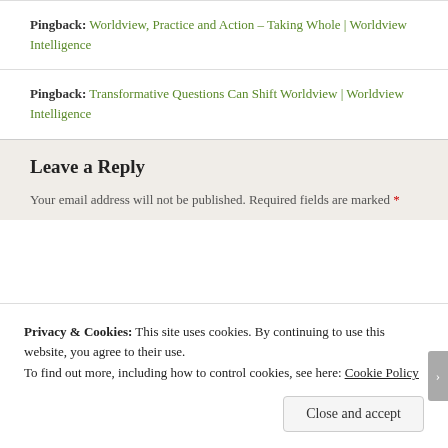Pingback: Worldview, Practice and Action – Taking Whole | Worldview Intelligence
Pingback: Transformative Questions Can Shift Worldview | Worldview Intelligence
Leave a Reply
Your email address will not be published. Required fields are marked *
Privacy & Cookies: This site uses cookies. By continuing to use this website, you agree to their use.
To find out more, including how to control cookies, see here: Cookie Policy
Close and accept